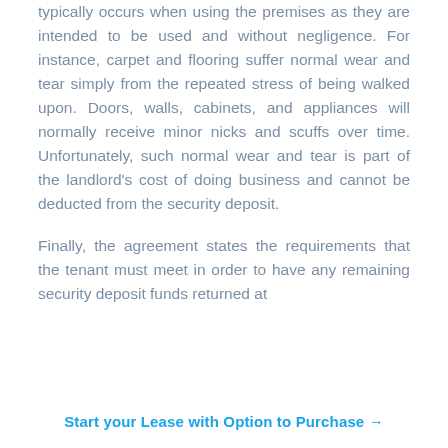typically occurs when using the premises as they are intended to be used and without negligence. For instance, carpet and flooring suffer normal wear and tear simply from the repeated stress of being walked upon. Doors, walls, cabinets, and appliances will normally receive minor nicks and scuffs over time. Unfortunately, such normal wear and tear is part of the landlord's cost of doing business and cannot be deducted from the security deposit.
Finally, the agreement states the requirements that the tenant must meet in order to have any remaining security deposit funds returned at
Start your Lease with Option to Purchase →